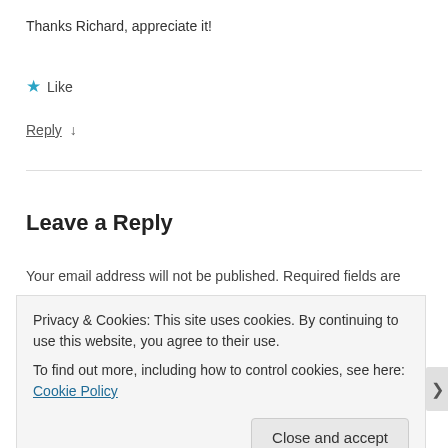Thanks Richard, appreciate it!
★ Like
Reply ↓
Leave a Reply
Your email address will not be published. Required fields are
Privacy & Cookies: This site uses cookies. By continuing to use this website, you agree to their use.
To find out more, including how to control cookies, see here: Cookie Policy
Close and accept